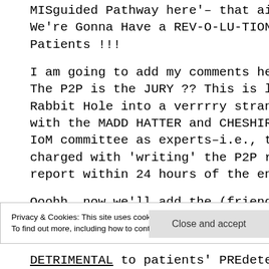MISguided Pathway here'– that aims to cond We're Gonna Have a REV-O-LU-TION — yaa- Patients !!!
I am going to add my comments here from a The P2P is the JURY ?? This is like Alice in W Rabbit Hole into a verrrry strange DISTORTE with the MADD HATTER and CHESHIRE CAT IoM committee as experts–i.e., the NON-expe charged with 'writing' the P2P report–tasked report within 24 hours of the end of the IoM
Ooohh. now we'll add the (friendly) Non-Sens
Privacy & Cookies: This site uses cookies. By continuing to use this website, you agree to their use.
To find out more, including how to control cookies, see here: Cookie Policy
Close and accept
DETRIMENTAL to patients' PREdetermned C